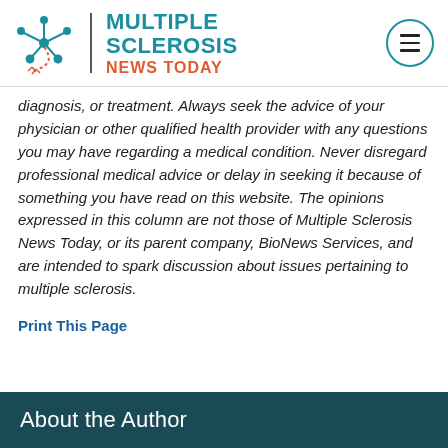Multiple Sclerosis News Today
diagnosis, or treatment. Always seek the advice of your physician or other qualified health provider with any questions you may have regarding a medical condition. Never disregard professional medical advice or delay in seeking it because of something you have read on this website. The opinions expressed in this column are not those of Multiple Sclerosis News Today, or its parent company, BioNews Services, and are intended to spark discussion about issues pertaining to multiple sclerosis.
Print This Page
About the Author